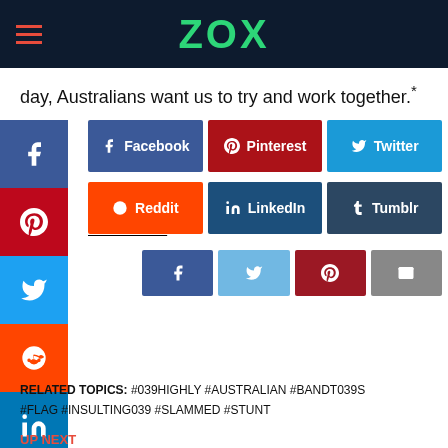ZOX
day, Australians want us to try and work together.*
Source link
[Figure (screenshot): Social media share buttons including Facebook, Pinterest, Twitter, Reddit, LinkedIn, Tumblr, and email sharing buttons]
RELATED TOPICS: #039HIGHLY #AUSTRALIAN #BANDT039S #FLAG #INSULTING039 #SLAMMED #STUNT
UP NEXT